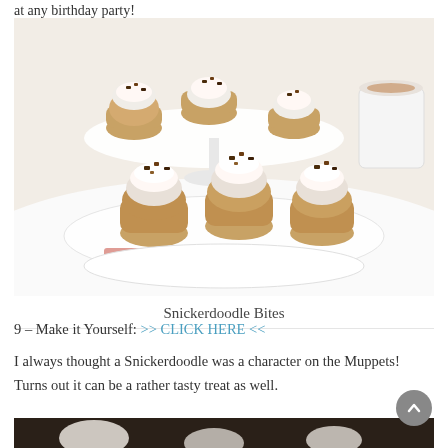at any birthday party!
[Figure (photo): Photo of Snickerdoodle Bites — small golden cupcake-style cookie cups topped with swirled white frosting and chocolate toffee bits, arranged on white plates and cake stands.]
Snickerdoodle Bites
9 – Make it Yourself: >> CLICK HERE <<
I always thought a Snickerdoodle was a character on the Muppets! Turns out it can be a rather tasty treat as well.
[Figure (photo): Partial view of another dessert photo at the bottom of the page — dark chocolate desserts with cream.]